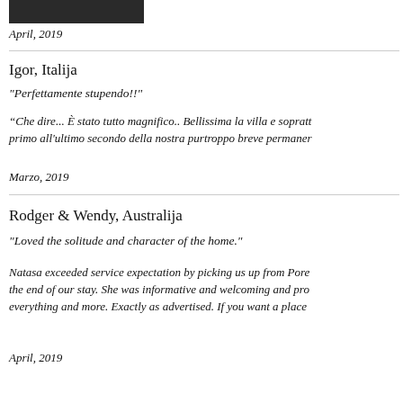[Figure (photo): Partial image visible at top of page]
April, 2019
Igor, Italija
"Perfettamente stupendo!!"
“Che dire... È stato tutto magnifico.. Bellissima la villa e sopratt primo all'ultimo secondo della nostra purtroppo breve permaner
Marzo, 2019
Rodger & Wendy, Australija
"Loved the solitude and character of the home."
Natasa exceeded service expectation by picking us up from Pore the end of our stay. She was informative and welcoming and pro everything and more. Exactly as advertised. If you want a place
April, 2019